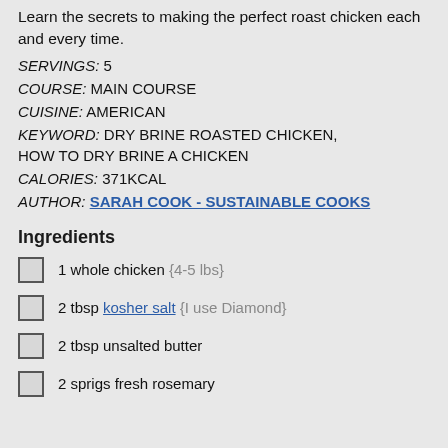Learn the secrets to making the perfect roast chicken each and every time.
SERVINGS: 5
COURSE: MAIN COURSE
CUISINE: AMERICAN
KEYWORD: DRY BRINE ROASTED CHICKEN, HOW TO DRY BRINE A CHICKEN
CALORIES: 371KCAL
AUTHOR: SARAH COOK - SUSTAINABLE COOKS
Ingredients
1 whole chicken {4-5 lbs}
2 tbsp kosher salt {I use Diamond}
2 tbsp unsalted butter
2 sprigs fresh rosemary